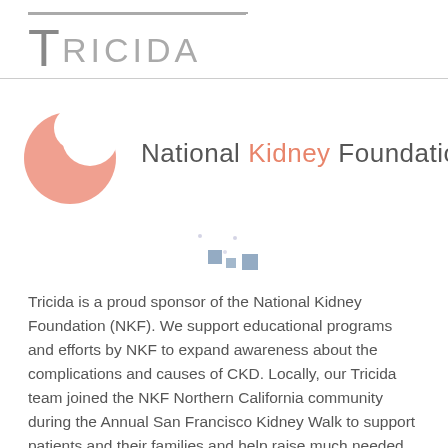[Figure (logo): Tricida company logo with a T character and horizontal bar above RICIDA text in gray]
[Figure (logo): National Kidney Foundation logo with a salmon/pink kidney-shaped blob graphic and the text 'National Kidney Foundation™']
Tricida is a proud sponsor of the National Kidney Foundation (NKF). We support educational programs and efforts by NKF to expand awareness about the complications and causes of CKD. Locally, our Tricida team joined the NKF Northern California community during the Annual San Francisco Kidney Walk to support patients and their families and help raise much needed dollars to support kidney disease research. Our